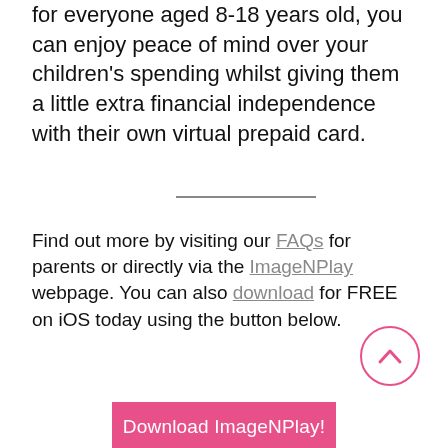for everyone aged 8-18 years old, you can enjoy peace of mind over your children's spending whilst giving them a little extra financial independence with their own virtual prepaid card.
Find out more by visiting our FAQs for parents or directly via the ImageNPlay webpage. You can also download for FREE on iOS today using the button below.
[Figure (other): Pink circular scroll-up button with chevron/caret icon]
Download ImageNPlay!